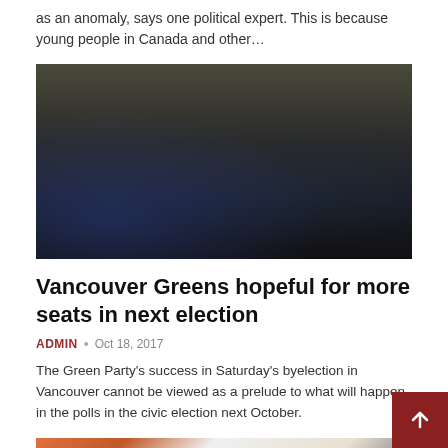as an anomaly, says one political expert. This is because young people in Canada and other...
[Figure (photo): Crowd of people gathered indoors at a dimly lit venue, watching something off-screen]
Vancouver Greens hopeful for more seats in next election
ADMIN • Oct 18, 2017
The Green Party's success in Saturday's byelection in Vancouver cannot be viewed as a prelude to what will happen in the polls in the civic election next October.
[Figure (photo): Two women in what appears to be an office or community space with colorful sticky notes on a wall behind them]